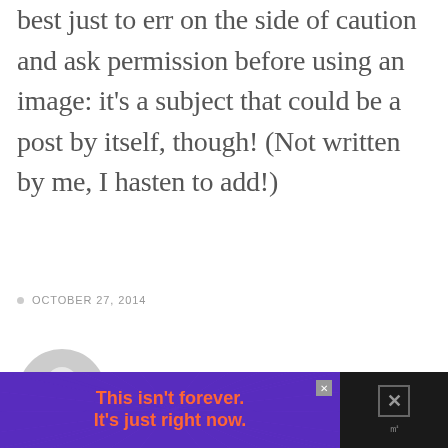best just to err on the side of caution and ask permission before using an image: it's a subject that could be a post by itself, though! (Not written by me, I hasten to add!)
OCTOBER 27, 2014
[Figure (illustration): Generic user avatar icon — grey silhouette of a person in a circle]
[Figure (infographic): Advertisement banner with purple starburst background and orange bold text reading 'This isn't forever. It's just right now.' with a close button and a dark right panel with an X button and thermometer icon.]